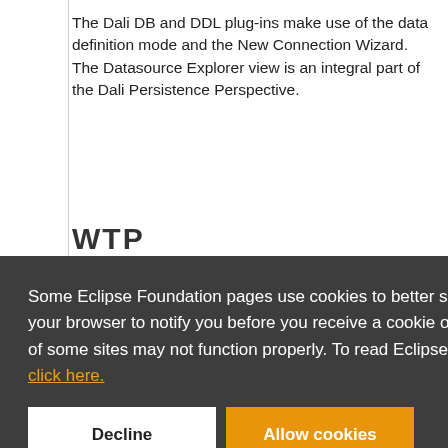The Dali DB and DDL plug-ins make use of the data definition mode and the New Connection Wizard. The Datasource Explorer view is an integral part of the Dali Persistence Perspective.
WTP
Some Eclipse Foundation pages use cookies to better serve you when you return to the site. You can set your browser to notify you before you receive a cookie or turn off cookies. If you do so, however, some areas of some sites may not function properly. To read Eclipse Foundation Privacy Policy click here.
provide extensions to the core JPA model. The core